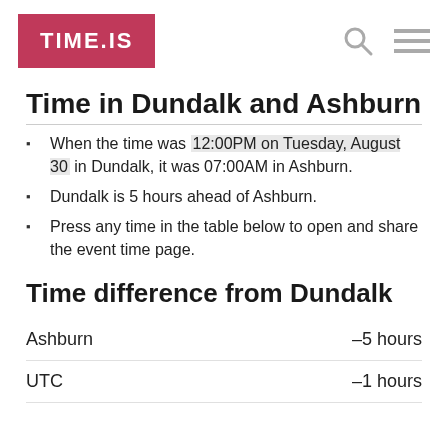TIME.IS
Time in Dundalk and Ashburn
When the time was 12:00PM on Tuesday, August 30 in Dundalk, it was 07:00AM in Ashburn.
Dundalk is 5 hours ahead of Ashburn.
Press any time in the table below to open and share the event time page.
Time difference from Dundalk
|  |  |
| --- | --- |
| Ashburn | –5 hours |
| UTC | –1 hours |